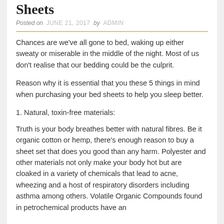Sheets
Posted on JUNE 21, 2017 by ADMIN
Chances are we've all gone to bed, waking up either sweaty or miserable in the middle of the night. Most of us don't realise that our bedding could be the culprit.
Reason why it is essential that you these 5 things in mind when purchasing your bed sheets to help you sleep better.
1. Natural, toxin-free materials:
Truth is your body breathes better with natural fibres. Be it organic cotton or hemp, there's enough reason to buy a sheet set that does you good than any harm. Polyester and other materials not only make your body hot but are cloaked in a variety of chemicals that lead to acne, wheezing and a host of respiratory disorders including asthma among others. Volatile Organic Compounds found in petrochemical products have an